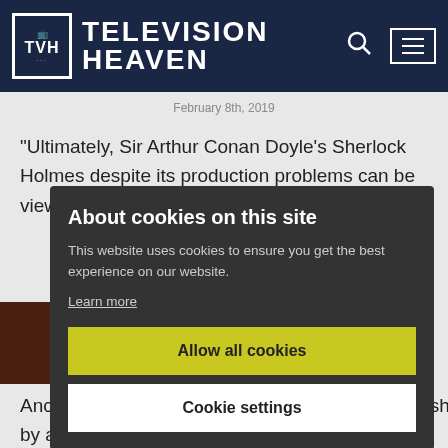TELEVISION HEAVEN
February 8th, 2019
"Ultimately, Sir Arthur Conan Doyle's Sherlock Holmes despite its production problems can be viewed as a flawed ye...
About cookies on this site
This website uses cookies to ensure you get the best experience on our website.
Learn more
Allow all cookies
Cookie settings
Ancient Chinese detective stories written in English by a modern Dutch diplomat